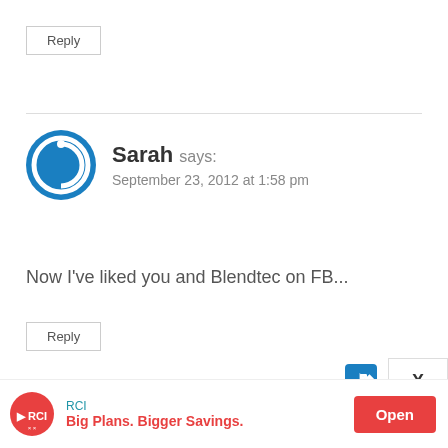Reply
Sarah says:
September 23, 2012 at 1:58 pm
Now I've liked you and Blendtec on FB...
Reply
Stephony says:
[Figure (infographic): RCI advertisement banner: RCI logo with red semicircle, text 'Big Plans. Bigger Savings.' and Open button]